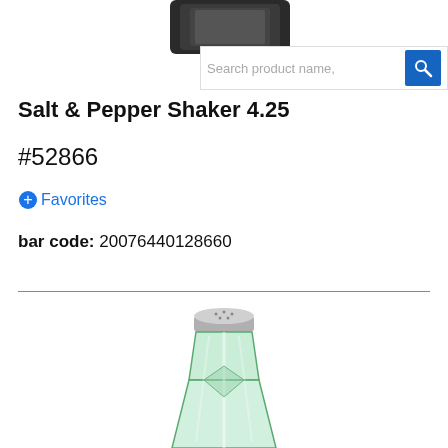[Figure (photo): Partial view of a dark-colored salt or pepper shaker product image at the top of page]
[Figure (screenshot): Search bar overlay with text 'Search product name,' and blue search icon button]
Salt & Pepper Shaker 4.25
#52866
+Favorites
bar code:  20076440128660
[Figure (photo): Clear green glass salt/pepper shaker with silver metal perforated lid, tapered tower shape, bottom cut off]